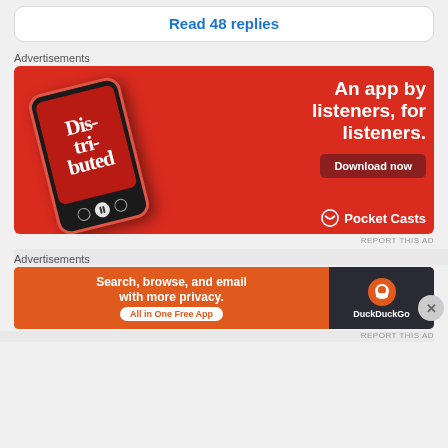Read 48 replies
Advertisements
[Figure (illustration): Pocket Casts advertisement: red background, phone showing 'Dis-tri-buted' podcast, text 'An app by listeners, for listeners.' with Download now button and Pocket Casts logo]
REPORT THIS AD
Advertisements
[Figure (illustration): DuckDuckGo advertisement: orange section with 'Search, browse, and email with more privacy. All in One Free App', dark section with DuckDuckGo logo]
REPORT THIS AD